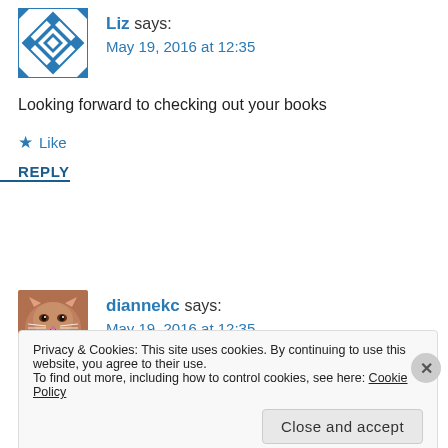[Figure (illustration): Blue quilted/geometric avatar icon for user Liz]
Liz says:
May 19, 2016 at 12:35
Looking forward to checking out your books
★ Like
REPLY
[Figure (photo): Photo of an orange cat, avatar for user diannekc]
diannekc says:
May 19, 2016 at 12:35
Privacy & Cookies: This site uses cookies. By continuing to use this website, you agree to their use.
To find out more, including how to control cookies, see here: Cookie Policy
Close and accept